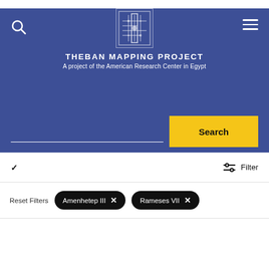THEBAN MAPPING PROJECT — A project of the American Research Center in Egypt
[Figure (logo): Theban Mapping Project logo — a square emblem with a circuit/map pattern in white lines on dark blue background]
THEBAN MAPPING PROJECT
A project of the American Research Center in Egypt
Search
Filter
Reset Filters   Amenhetep III ×   Rameses VII ×